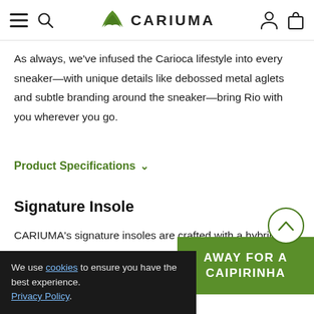CARIUMA — navigation bar with hamburger menu, search icon, logo, user icon, bag icon
As always, we've infused the Carioca lifestyle into every sneaker—with unique details like debossed metal aglets and subtle branding around the sneaker—bring Rio with you wherever you go.
Product Specifications ∨
Signature Insole
CARIUMA's signature insoles are crafted with a hybrid of memory foam and natural vegetable tanned leather, for the optimal com... Using an EVA & rubber compound, we have created an insole t... lightweight and resilient, completed with d... and on the side
We use cookies to ensure you have the best experience. Privacy Policy.
AWAY FOR A CAIPIRINHA